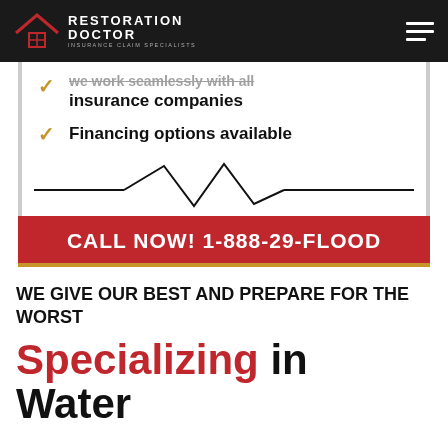Restoration Doctor — Insurance Claim Specialists
We work seamlessly with all insurance companies
Financing options available
[Figure (illustration): Heartbeat / EKG line graphic in black on white background]
CALL NOW! 1-888-29-FLOOD
WE GIVE OUR BEST AND PREPARE FOR THE WORST
Specializing in Water